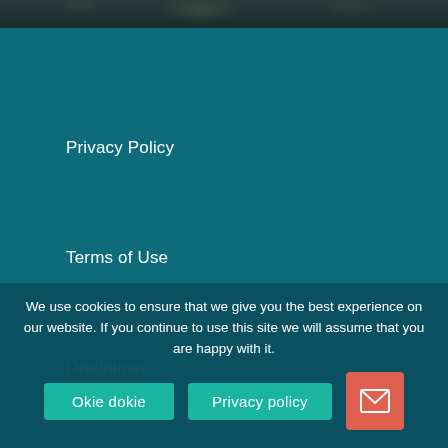[Figure (photo): Dark photographic strip at top of page showing foliage/nature scene]
Privacy Policy
Terms of Use
Disclaimer
Jaymi Heimbuch Photography, LLC
We use cookies to ensure that we give you the best experience on our website. If you continue to use this site we will assume that you are happy with it.
Okie dokie
Privacy policy